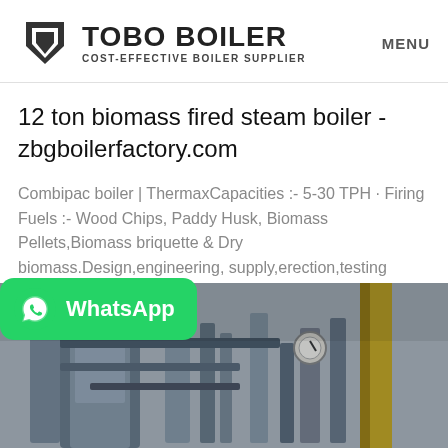TOBO BOILER COST-EFFECTIVE BOILER SUPPLIER | MENU
12 ton biomass fired steam boiler - zbgboilerfactory.com
Combipac boiler | ThermaxCapacities :- 5-30 TPH · Firing Fuels :- Wood Chips, Paddy Husk, Biomass Pellets,Biomass briquette & Dry biomass.Design,engineering, supply,erection,testing and...
Get Price
[Figure (screenshot): WhatsApp button overlay and industrial boiler photo showing pipes, gauges, and industrial equipment]